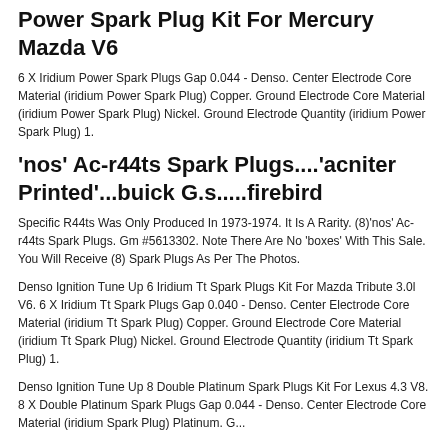Power Spark Plug Kit For Mercury Mazda V6
6 X Iridium Power Spark Plugs Gap 0.044 - Denso. Center Electrode Core Material (iridium Power Spark Plug) Copper. Ground Electrode Core Material (iridium Power Spark Plug) Nickel. Ground Electrode Quantity (iridium Power Spark Plug) 1.
'nos' Ac-r44ts Spark Plugs....'acniter Printed'...buick G.s.....firebird
Specific R44ts Was Only Produced In 1973-1974. It Is A Rarity. (8)'nos' Ac-r44ts Spark Plugs. Gm #5613302. Note There Are No 'boxes' With This Sale. You Will Receive (8) Spark Plugs As Per The Photos.
Denso Ignition Tune Up 6 Iridium Tt Spark Plugs Kit For Mazda Tribute 3.0l V6. 6 X Iridium Tt Spark Plugs Gap 0.040 - Denso. Center Electrode Core Material (iridium Tt Spark Plug) Copper. Ground Electrode Core Material (iridium Tt Spark Plug) Nickel. Ground Electrode Quantity (iridium Tt Spark Plug) 1.
Denso Ignition Tune Up 8 Double Platinum Spark Plugs Kit For Lexus 4.3 V8. 8 X Double Platinum Spark Plugs Gap 0.044 - Denso. Center Electrode Core Material (iridium Spark Plug) Platinum. G...